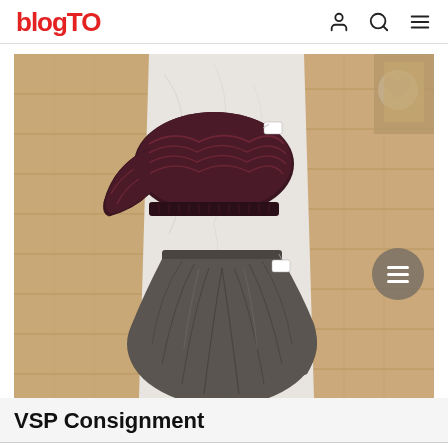blogTO
[Figure (photo): Photo of a dark red/maroon knit sweater and a dark grey faux leather circle skirt with price tags, laid flat on a white marble surface with wood floor background. A heart icon button and list icon button are overlaid on the photo.]
VSP Consignment